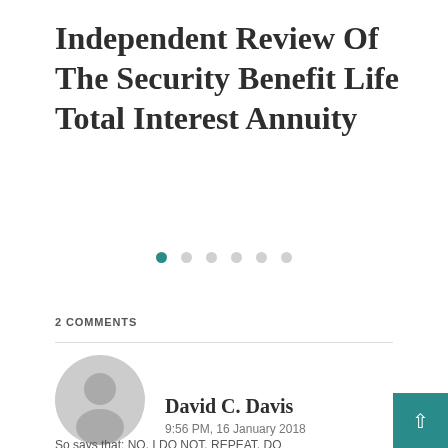Independent Review Of The Security Benefit Life Total Interest Annuity
[Figure (other): Carousel pagination dots: one teal/active dot followed by five grey/inactive dots]
2 COMMENTS
[Figure (photo): Grey default user avatar silhouette icon]
David C. Davis
9:56 PM, 16 January 2018
So says that: NO, I DO NOT. REPEAT, DO